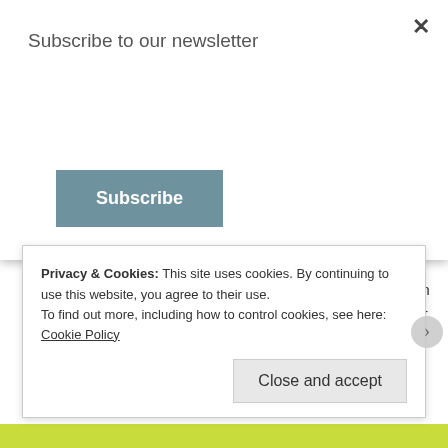Subscribe to our newsletter
Subscribe
LOL!!!! I TOTALLY get what you mean!!!! ❤️ I'm hard-pressed to define my favorite one too, for the exact reasons you mention. 😉
★ Liked by 1 person
Reply
Privacy & Cookies: This site uses cookies. By continuing to use this website, you agree to their use. To find out more, including how to control cookies, see here: Cookie Policy
Close and accept